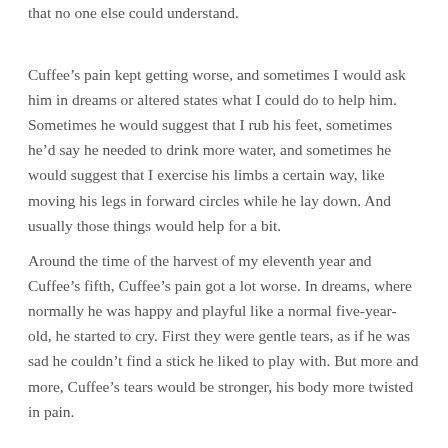that no one else could understand.
Cuffee’s pain kept getting worse, and sometimes I would ask him in dreams or altered states what I could do to help him. Sometimes he would suggest that I rub his feet, sometimes he’d say he needed to drink more water, and sometimes he would suggest that I exercise his limbs a certain way, like moving his legs in forward circles while he lay down. And usually those things would help for a bit.
Around the time of the harvest of my eleventh year and Cuffee’s fifth, Cuffee’s pain got a lot worse. In dreams, where normally he was happy and playful like a normal five-year-old, he started to cry. First they were gentle tears, as if he was sad he couldn’t find a stick he liked to play with. But more and more, Cuffee’s tears would be stronger, his body more twisted in pain.